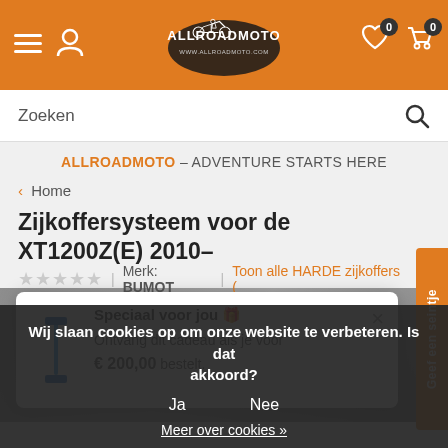[Figure (screenshot): AllroadMoto website header with orange background, hamburger menu, user icon, logo, wishlist and cart icons with 0 badges]
Zoeken
ALLROADMOTO – ADVENTURE STARTS HERE
‹ Home
Zijkoffersysteem voor de XT1200Z(E) 2010–
★★★★★ | Merk: BUMOT | Toon alle HARDE zijkoffers (
Geef een seintje
Speciaal voor jou 🎁
Ontvang dit cadeau als je voor € 200,00 bestelt.
Wij slaan cookies op om onze website te verbeteren. Is dat akkoord?
Ja    Nee
Meer over cookies »